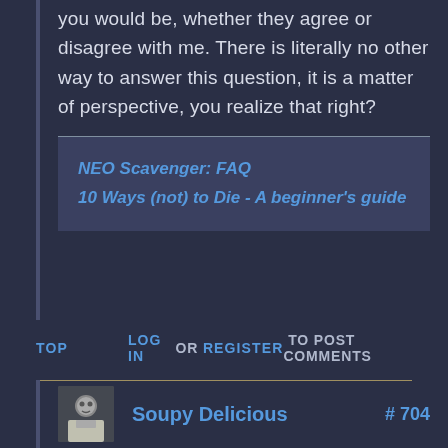you would be, whether they agree or disagree with me. There is literally no other way to answer this question, it is a matter of perspective, you realize that right?
NEO Scavenger: FAQ
10 Ways (not) to Die - A beginner's guide
TOP   LOG IN OR REGISTER TO POST COMMENTS
Soupy Delicious  #704
on August 21, 2016 - 3:06
Sure guvna, but you can usually tell when someone is on the same wavelength as you and